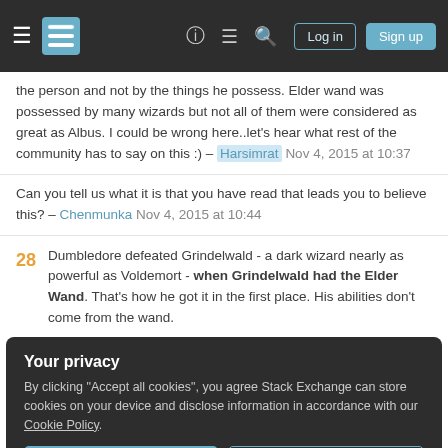Stack Exchange navigation bar with hamburger menu, logo, help, chat, search icons, and Log in / Sign up buttons
the person and not by the things he possess. Elder wand was possessed by many wizards but not all of them were considered as great as Albus. I could be wrong here..let's hear what rest of the community has to say on this :) – Harsimrat Nov 4, 2015 at 10:37
Can you tell us what it is that you have read that leads you to believe this? – Chenmunka Nov 4, 2015 at 10:44
28 Dumbledore defeated Grindelwald - a dark wizard nearly as powerful as Voldemort - when Grindelwald had the Elder Wand. That's how he got it in the first place. His abilities don't come from the wand.
Your privacy – By clicking "Accept all cookies", you agree Stack Exchange can store cookies on your device and disclose information in accordance with our Cookie Policy.
(if he did indeed fix his wand into the umbrella). He